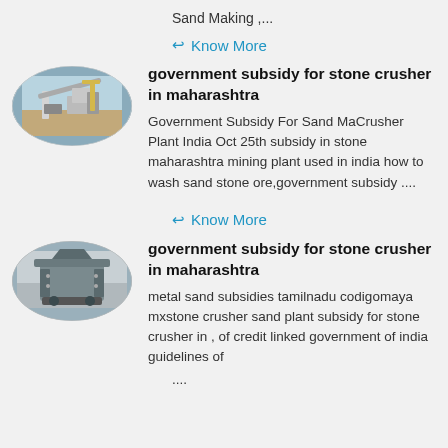Sand Making ,...
Know More
[Figure (photo): Oval-shaped photo of a sand/stone crusher plant with conveyor belts and industrial equipment outdoors]
government subsidy for stone crusher in maharashtra
Government Subsidy For Sand MaCrusher Plant India Oct 25th subsidy in stone maharashtra mining plant used in india how to wash sand stone ore,government subsidy ....
Know More
[Figure (photo): Oval-shaped photo of a stone crusher machine, industrial equipment with metallic components]
government subsidy for stone crusher in maharashtra
metal sand subsidies tamilnadu codigomaya mxstone crusher sand plant subsidy for stone crusher in , of credit linked government of india guidelines of
....